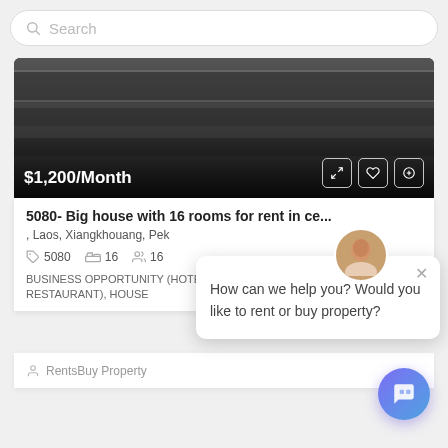Search
[Figure (screenshot): Dark property image showing a building exterior with price overlay $1,200/Month and action icons]
5080- Big house with 16 rooms for rent in ce...
, Laos, Xiangkhouang, Pek
5080  16  16
BUSINESS OPPORTUNITY (HOTEL, RESORT, RESTAURANT), HOUSE
RentsBuy Property
How can we help you? Would you like to rent or buy property?